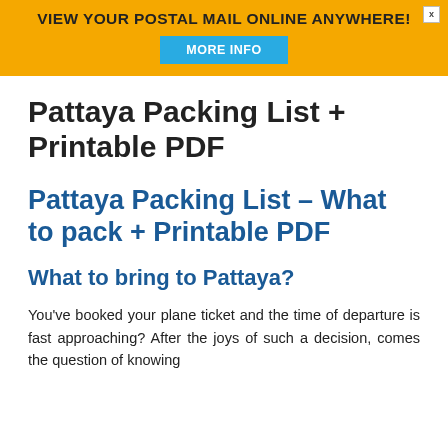VIEW YOUR POSTAL MAIL ONLINE ANYWHERE!
Pattaya Packing List + Printable PDF
Pattaya Packing List – What to pack + Printable PDF
What to bring to Pattaya?
You've booked your plane ticket and the time of departure is fast approaching? After the joys of such a decision, comes the question of knowing